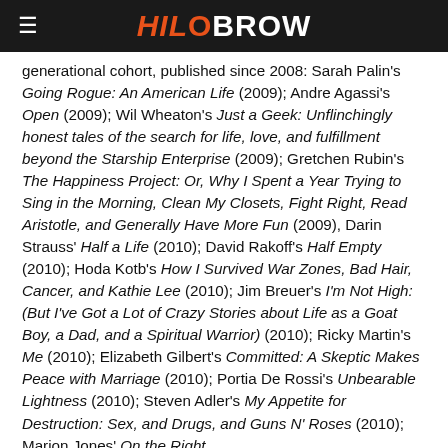HiloBrow
generational cohort, published since 2008: Sarah Palin's Going Rogue: An American Life (2009); Andre Agassi's Open (2009); Wil Wheaton's Just a Geek: Unflinchingly honest tales of the search for life, love, and fulfillment beyond the Starship Enterprise (2009); Gretchen Rubin's The Happiness Project: Or, Why I Spent a Year Trying to Sing in the Morning, Clean My Closets, Fight Right, Read Aristotle, and Generally Have More Fun (2009), Darin Strauss' Half a Life (2010); David Rakoff's Half Empty (2010); Hoda Kotb's How I Survived War Zones, Bad Hair, Cancer, and Kathie Lee (2010); Jim Breuer's I'm Not High: (But I've Got a Lot of Crazy Stories about Life as a Goat Boy, a Dad, and a Spiritual Warrior) (2010); Ricky Martin's Me (2010); Elizabeth Gilbert's Committed: A Skeptic Makes Peace with Marriage (2010); Portia De Rossi's Unbearable Lightness (2010); Steven Adler's My Appetite for Destruction: Sex, and Drugs, and Guns N' Roses (2010); Marion Jones' On the Right